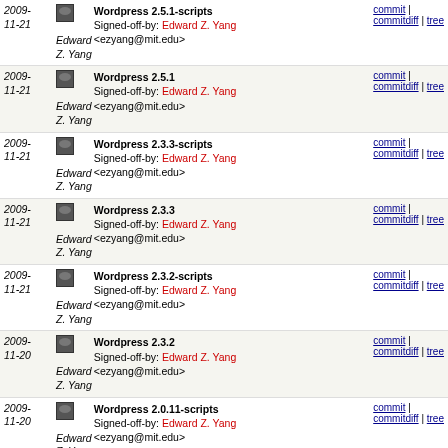2009-11-21 | Edward Z. Yang | Wordpress 2.5.1-scripts | Signed-off-by: Edward Z. Yang <ezyang@mit.edu> | commit | commitdiff | tree
2009-11-21 | Edward Z. Yang | Wordpress 2.5.1 | Signed-off-by: Edward Z. Yang <ezyang@mit.edu> | commit | commitdiff | tree
2009-11-21 | Edward Z. Yang | Wordpress 2.3.3-scripts | Signed-off-by: Edward Z. Yang <ezyang@mit.edu> | commit | commitdiff | tree
2009-11-21 | Edward Z. Yang | Wordpress 2.3.3 | Signed-off-by: Edward Z. Yang <ezyang@mit.edu> | commit | commitdiff | tree
2009-11-21 | Edward Z. Yang | Wordpress 2.3.2-scripts | Signed-off-by: Edward Z. Yang <ezyang@mit.edu> | commit | commitdiff | tree
2009-11-20 | Edward Z. Yang | Wordpress 2.3.2 | Signed-off-by: Edward Z. Yang <ezyang@mit.edu> | commit | commitdiff | tree
2009-11-20 | Edward Z. Yang | Wordpress 2.0.11-scripts | Signed-off-by: Edward Z. Yang <ezyang@mit.edu> | commit | commitdiff | tree
2009-11-20 | Edward Z. Yang | Wordpress 2.0.11 | Signed-off-by: Edward Z. Yang <ezyang@mit.edu> | commit | commitdiff | tree
2009-11-05 | Edward Z. Yang | Wordpress 2.0.4-scripts | Signed-off-by: Edward Z. Yang <ezyang@mit.edu> | commit | commitdiff | tree
2009- | Edward | Wordpress 2.0.4 | commit